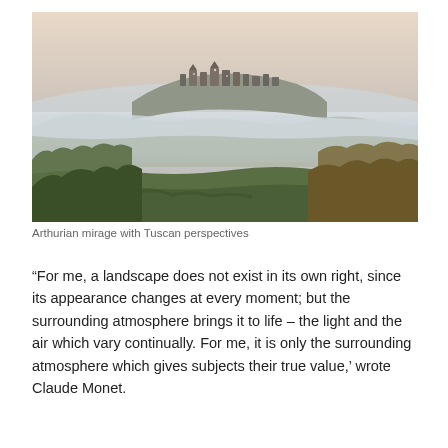[Figure (photo): Landscape photograph showing a hilltop village rising above a thick layer of morning mist, with rolling hills and trees in the foreground, pastel sky above. Caption reads: Arthurian mirage with Tuscan perspectives.]
Arthurian mirage with Tuscan perspectives
“For me, a landscape does not exist in its own right, since its appearance changes at every moment; but the surrounding atmosphere brings it to life – the light and the air which vary continually. For me, it is only the surrounding atmosphere which gives subjects their true value,’ wrote Claude Monet.